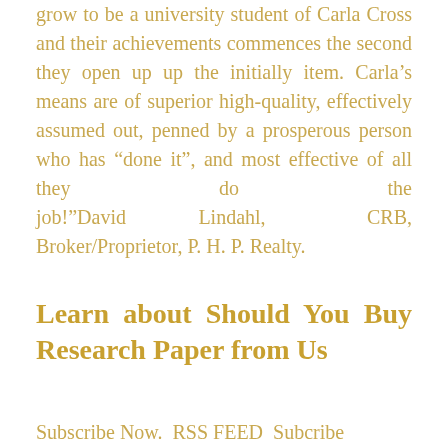grow to be a university student of Carla Cross and their achievements commences the second they open up up the initially item. Carla's means are of superior high-quality, effectively assumed out, penned by a prosperous person who has “done it”, and most effective of all they do the job!”David Lindahl, CRB, Broker/Proprietor, P. H. P. Realty.
Learn about Should You Buy Research Paper from Us
Subscribe Now. RSS FEED Subcribe